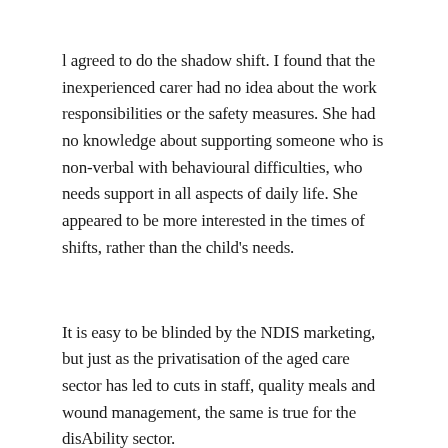l agreed to do the shadow shift. I found that the inexperienced carer had no idea about the work responsibilities or the safety measures. She had no knowledge about supporting someone who is non-verbal with behavioural difficulties, who needs support in all aspects of daily life. She appeared to be more interested in the times of shifts, rather than the child's needs.
It is easy to be blinded by the NDIS marketing, but just as the privatisation of the aged care sector has led to cuts in staff, quality meals and wound management, the same is true for the disAbility sector.
There are also many grey areas concerning the care